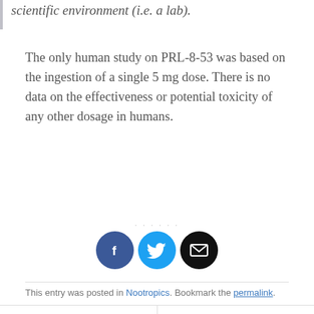scientific environment (i.e. a lab).
The only human study on PRL-8-53 was based on the ingestion of a single 5 mg dose. There is no data on the effectiveness or potential toxicity of any other dosage in humans.
FIND A DISTRIBUTOR
[Figure (infographic): Social sharing icons: Facebook (blue circle with f), Twitter (light blue circle with bird), Email (black circle with envelope)]
This entry was posted in Nootropics. Bookmark the permalink.
FOLLISTATIN-315
MAX-LMG